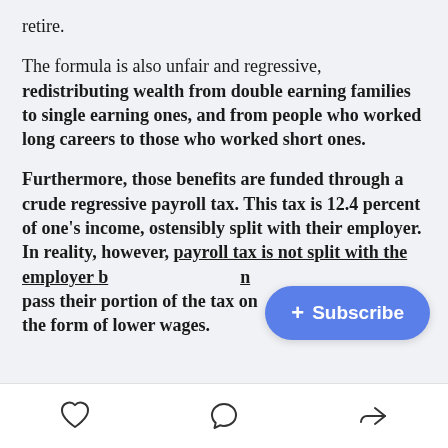retire.
The formula is also unfair and regressive, redistributing wealth from double earning families to single earning ones, and from people who worked long careers to those who worked short ones.
Furthermore, those benefits are funded through a crude regressive payroll tax. This tax is 12.4 percent of one’s income, ostensibly split with their employer. In reality, however, payroll tax is not split with the employer b[ecause employers] pass their portion of the tax on[to workers in] the form of lower wages.
[Figure (other): Blue rounded Subscribe button with plus icon overlaid on text]
Heart icon, Comment icon, Share icon